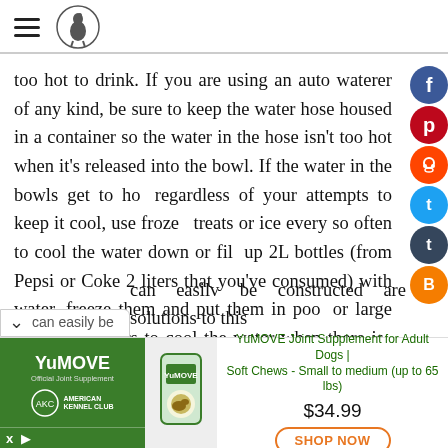[Hamburger menu icon] [Logo: bird in circle]
too hot to drink. If you are using an auto waterer of any kind, be sure to keep the water hose housed in a container so the water in the hose isn't too hot when it's released into the bowl. If the water in the bowls get to hot regardless of your attempts to keep it cool, use froze treats or ice every so often to cool the water down or fill up 2L bottles (from Pepsi or Coke 2 liters that you've consumed) with water, freeze them and put them in pool or large water containers to cool the water when there is chance that the water will get hot. Several DIY methods can easily be constructed are solutions to this
[Figure (screenshot): YuMOVE advertisement banner with green background on left showing YuMOVE brand and AKC logo, product image in center, and product details with price $34.99 and SHOP NOW button on right]